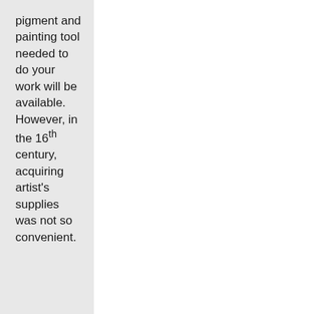pigment and painting tool needed to do your work will be available. However, in the 16th century, acquiring artist's supplies was not so convenient.